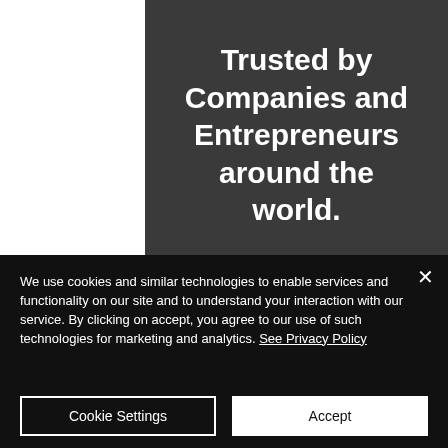Trusted by Companies and Entrepreneurs around the world.
We use cookies and similar technologies to enable services and functionality on our site and to understand your interaction with our service. By clicking on accept, you agree to our use of such technologies for marketing and analytics. See Privacy Policy